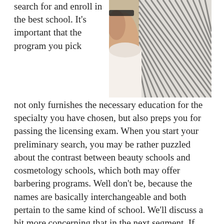search for and enroll in the best school. It's important that the program you pick
[Figure (photo): A close-up photo of a barber cutting or styling hair, showing striped pattern fabric and hands at work.]
not only furnishes the necessary education for the specialty you have chosen, but also preps you for passing the licensing exam. When you start your preliminary search, you may be rather puzzled about the contrast between beauty schools and cosmetology schools, which both may offer barbering programs. Well don't be, because the names are basically interchangeable and both pertain to the same kind of school. We'll discuss a bit more concerning that in the next segment. If you intend on commuting to classes you will want to choose a school that is within driving distance of your London residence. Tuition will additionally be an important aspect when assessing possible barber schools. Just keep in mind that because a school is the closest or the least expensive it's not necessarily the right choice. There are many